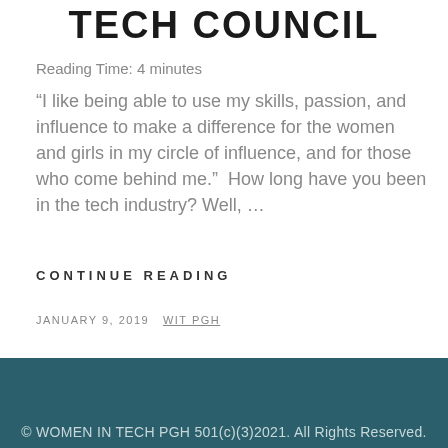TECH COUNCIL
Reading Time: 4 minutes
“I like being able to use my skills, passion, and influence to make a difference for the women and girls in my circle of influence, and for those who come behind me.”  How long have you been in the tech industry? Well, …
CONTINUE READING
JANUARY 9, 2019  WIT PGH
© WOMEN IN TECH PGH 501(c)(3)2021. All Rights Reserved.